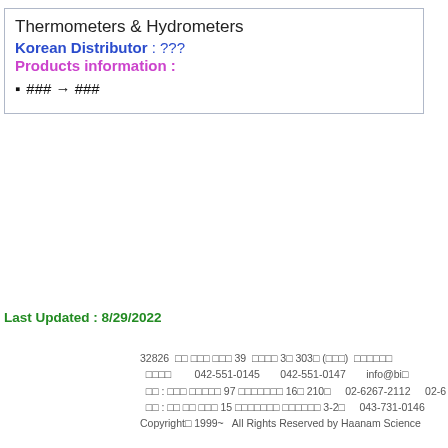Thermometers & Hydrometers
Korean Distributor : ???
Products information :
### → ###
Last Updated : 8/29/2022
32826  □□ □□□ □□□ 39  □□□□ 3□ 303□ (□□□)  □□□□□□
□□□□  042-551-0145  042-551-0147  info@bi□
□□ : □□□ □□□□□ 97 □□□□□□□ 16□ 210□  02-6267-2112  02-6
□□ : □□ □□ □□□ 15 □□□□□□□ □□□□□□ 3-2□  043-731-0146
Copyright□ 1999~  All Rights Reserved by Haanam Science